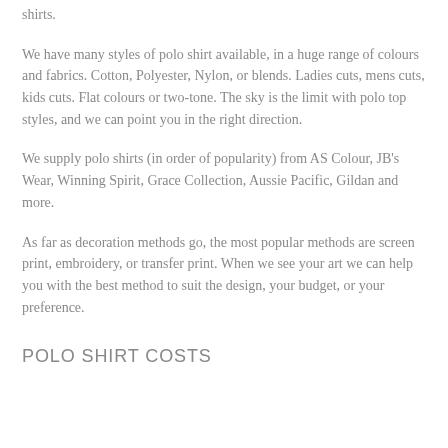shirts.
We have many styles of polo shirt available, in a huge range of colours and fabrics. Cotton, Polyester, Nylon, or blends. Ladies cuts, mens cuts, kids cuts. Flat colours or two-tone. The sky is the limit with polo top styles, and we can point you in the right direction.
We supply polo shirts (in order of popularity) from AS Colour, JB's Wear, Winning Spirit, Grace Collection, Aussie Pacific, Gildan and more.
As far as decoration methods go, the most popular methods are screen print, embroidery, or transfer print. When we see your art we can help you with the best method to suit the design, your budget, or your preference.
POLO SHIRT COSTS